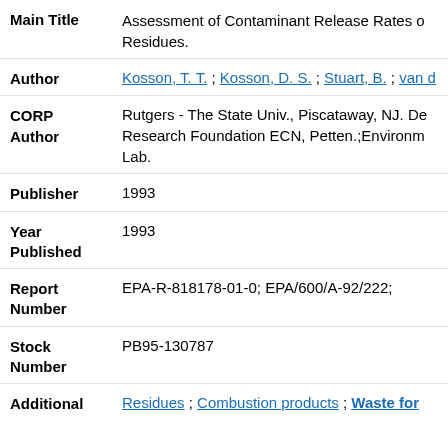| Field | Value |
| --- | --- |
| Main Title | Assessment of Contaminant Release Rates... Residues. |
| Author | Kosson, T. T. ; Kosson, D. S. ; Stuart, B. ; van d... |
| CORP Author | Rutgers - The State Univ., Piscataway, NJ. De... Research Foundation ECN, Petten.;Environm... Lab. |
| Publisher | 1993 |
| Year Published | 1993 |
| Report Number | EPA-R-818178-01-0; EPA/600/A-92/222; |
| Stock Number | PB95-130787 |
| Additional | Residues ; Combustion products ; Waste for... |